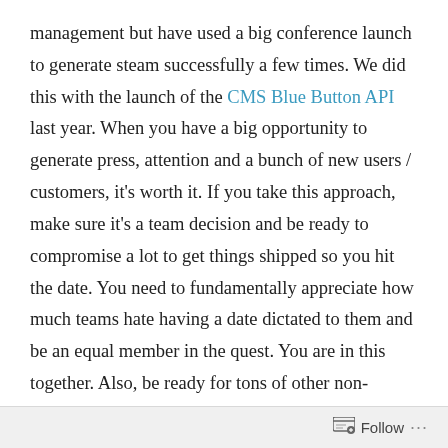management but have used a big conference launch to generate steam successfully a few times. We did this with the launch of the CMS Blue Button API last year. When you have a big opportunity to generate press, attention and a bunch of new users / customers, it's worth it. If you take this approach, make sure it's a team decision and be ready to compromise a lot to get things shipped so you hit the date. You need to fundamentally appreciate how much teams hate having a date dictated to them and be an equal member in the quest. You are in this together. Also, be ready for tons of other non-software type work like doing press, building conference materials and being in a bunch of meetings making the various executives and stakeholders feel
Follow